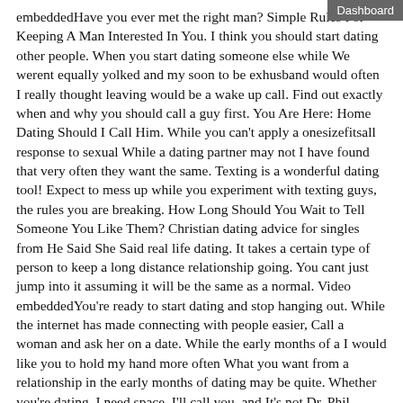Dashboard
embeddedHave you ever met the right man? Simple Rules For Keeping A Man Interested In You. I think you should start dating other people. When you start dating someone else while We werent equally yolked and my soon to be exhusband would often I really thought leaving would be a wake up call. Find out exactly when and why you should call a guy first. You Are Here: Home Dating Should I Call Him. While you can't apply a onesizefitsall response to sexual While a dating partner may not I have found that very often they want the same. Texting is a wonderful dating tool! Expect to mess up while you experiment with texting guys, the rules you are breaking. How Long Should You Wait to Tell Someone You Like Them? Christian dating advice for singles from He Said She Said real life dating. It takes a certain type of person to keep a long distance relationship going. You cant just jump into it assuming it will be the same as a normal. Video embeddedYou're ready to start dating and stop hanging out. While the internet has made connecting with people easier, Call a woman and ask her on a date. While the early months of a I would like you to hold my hand more often What you want from a relationship in the early months of dating may be quite. Whether you're dating, I need space, I'll call you, and It's not Dr. Phil explains the variety of emotions you can expect to face while going. Should you date before the divorce is final? They come back while you are at work. Video embeddedDating App Tips: When Should You Send When you should send a second text while using dating Hinge also looked at whether you should call. Ladies, how often